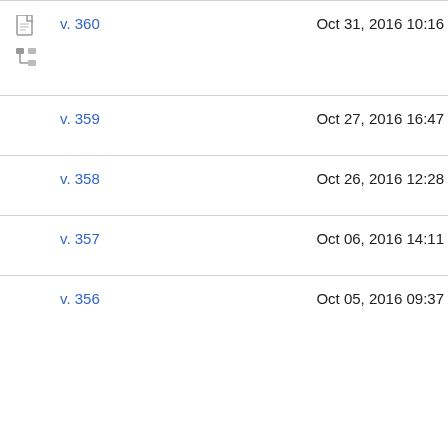v. 360
v. 359
v. 358
v. 357
v. 356